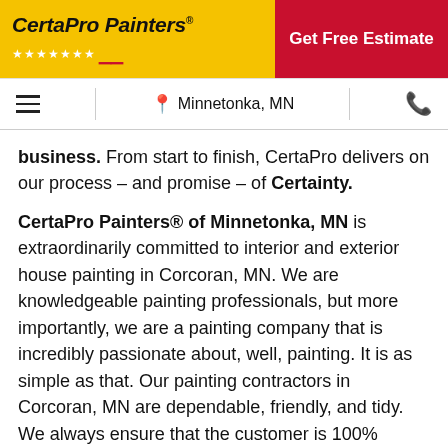[Figure (logo): CertaPro Painters logo on yellow background with red stars and brush icon]
Get Free Estimate
☰  Minnetonka, MN  📞
business. From start to finish, CertaPro delivers on our process – and promise – of Certainty.
CertaPro Painters® of Minnetonka, MN is extraordinarily committed to interior and exterior house painting in Corcoran, MN. We are knowledgeable painting professionals, but more importantly, we are a painting company that is incredibly passionate about, well, painting. It is as simple as that. Our painting contractors in Corcoran, MN are dependable, friendly, and tidy. We always ensure that the customer is 100% satisfied with the painting project before our crew moves onto